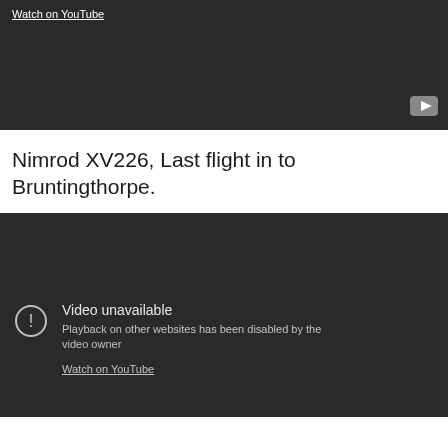[Figure (screenshot): YouTube video embed with dark background showing 'Watch on YouTube' link at top and YouTube play button icon at bottom right]
Nimrod XV226, Last flight in to Bruntingthorpe.
[Figure (screenshot): YouTube video embed showing 'Video unavailable - Playback on other websites has been disabled by the video owner' with Watch on YouTube link]